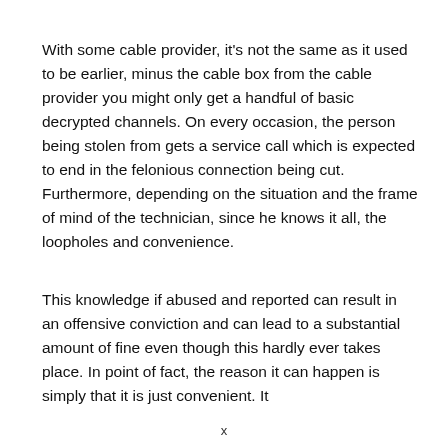With some cable provider, it's not the same as it used to be earlier, minus the cable box from the cable provider you might only get a handful of basic decrypted channels. On every occasion, the person being stolen from gets a service call which is expected to end in the felonious connection being cut. Furthermore, depending on the situation and the frame of mind of the technician, since he knows it all, the loopholes and convenience.
This knowledge if abused and reported can result in an offensive conviction and can lead to a substantial amount of fine even though this hardly ever takes place. In point of fact, the reason it can happen is simply that it is just convenient. It
x